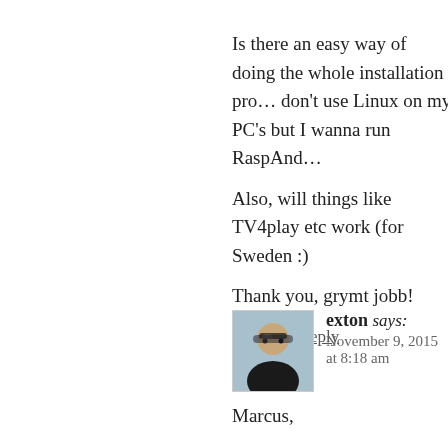Is there an easy way of doing the whole installation pro… don't use Linux on my PC's but I wanna run RaspAnd…
Also, will things like TV4play etc work (for Sweden :)
Thank you, grymt jobb!
Log in to Reply
exton says:
November 9, 2015 at 8:18 am
Marcus,
No, you can't do it in Windows. (Or I don't kn… Sorry.
Tv4Play: I haven't checked it. Perhaps it will …
Log in to Reply